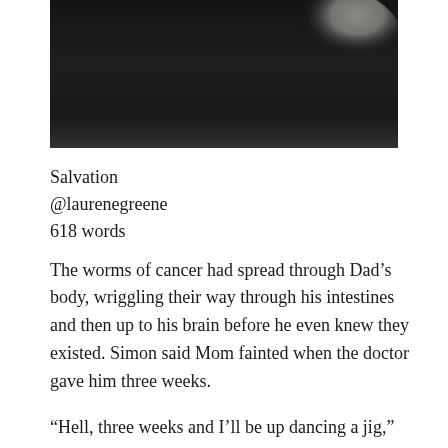[Figure (photo): Black and white photograph, partially visible, showing a dark background with a light/white area at upper right, appearing to be a portrait or figure photo cropped at the top of the page.]
Salvation
@laurenegreene
618 words
The worms of cancer had spread through Dad’s body, wriggling their way through his intestines and then up to his brain before he even knew they existed. Simon said Mom fainted when the doctor gave him three weeks.
“Hell, three weeks and I’ll be up dancing a jig,” Dad said.
But, of course, he wasn’t. Hospice came with a hospital bed, and they set it up in the guest room. And a week later I took leave from work, and traveled the five hours to the town that